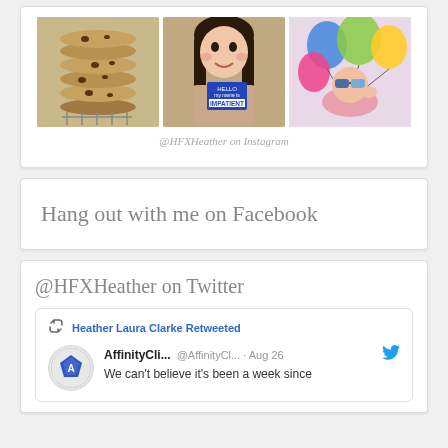[Figure (photo): Three Instagram photos: stacked chocolate chip cookies, a woman holding a 'Hello IMPATIENT' name tag, and a person with colorful balloons]
@HFXHeather on Instagram
Hang out with me on Facebook
@HFXHeather on Twitter
Heather Laura Clarke Retweeted
AffinityCli... @AffinityCl... · Aug 26
We can't believe it's been a week since